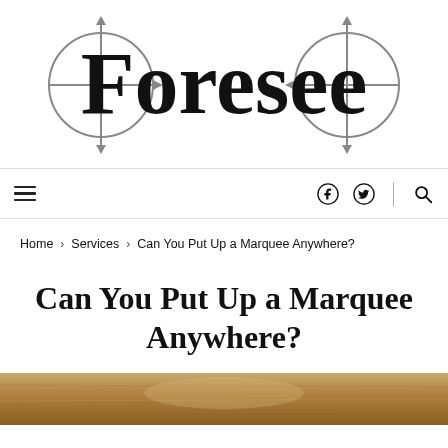[Figure (logo): Foresee logo with crosshair/compass circle graphic around the text 'Foresee' in large serif font]
≡  🔵 𝕗  🐦  |  🔍
Home > Services > Can You Put Up a Marquee Anywhere?
Can You Put Up a Marquee Anywhere?
[Figure (photo): Partial photo at bottom of page showing what appears to be a wooden or tent structure in warm brown tones]